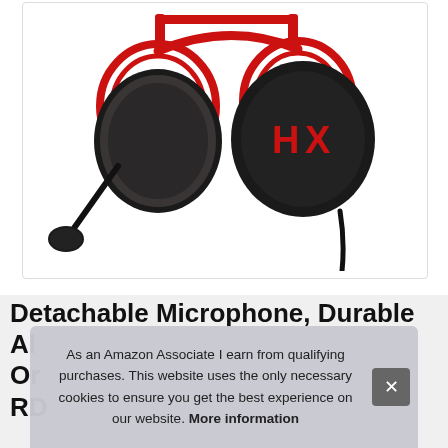[Figure (photo): HyperX Cloud Alpha gaming headset with red metal frame, black ear cups with HX logo, detachable microphone on flex boom arm, and wired cable, displayed on white background]
Detachable Microphone, Durable Al... Or... RD...
As an Amazon Associate I earn from qualifying purchases. This website uses the only necessary cookies to ensure you get the best experience on our website. More information